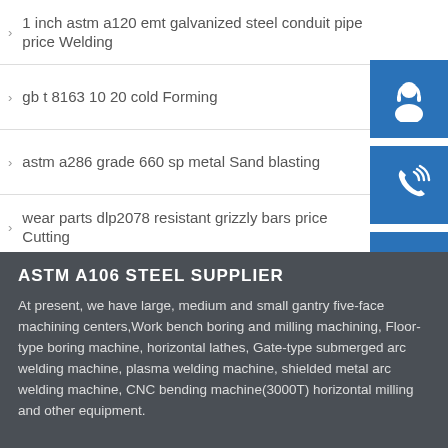1 inch astm a120 emt galvanized steel conduit pipe price Welding
gb t 8163 10 20 cold Forming
astm a286 grade 660 sp metal Sand blasting
wear parts dlp2078 resistant grizzly bars price Cutting
mild steel plate abs grade a astm a519 grade 1020 Bendi...
[Figure (illustration): Blue square icon with customer service headset/person silhouette]
[Figure (illustration): Blue square icon with phone/signal waves]
[Figure (illustration): Blue square icon with Skype logo S]
ASTM A106 STEEL SUPPLIER
At present, we have large, medium and small gantry five-face machining centers,Work bench boring and milling machining, Floor-type boring machine, horizontal lathes, Gate-type submerged arc welding machine, plasma welding machine, shielded metal arc welding machine, CNC bending machine(3000T) horizontal milling and other equipment.